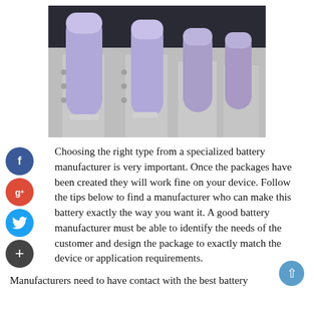[Figure (photo): Photo of cylindrical lithium-ion battery cells (purple/lavender colored) mounted in a white industrial battery holder/rack system]
Choosing the right type from a specialized battery manufacturer is very important. Once the packages have been created they will work fine on your device. Follow the tips below to find a manufacturer who can make this battery exactly the way you want it. A good battery manufacturer must be able to identify the needs of the customer and design the package to exactly match the device or application requirements.
Manufacturers need to have contact with the best battery